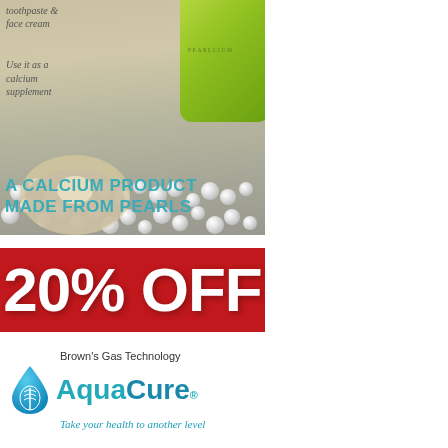[Figure (photo): Advertisement for Pearlcium calcium product made from pearls. Shows a green jar labeled PEARLCIUM against a background of pearls and oysters. Text reads 'toothpaste & face cream', 'Use it as a calcium supplement', and 'A CALCIUM PRODUCT MADE FROM PEARLS'.]
[Figure (infographic): Red banner advertisement showing '20% OFF' in large white bold text on a red background.]
[Figure (logo): AquaCure logo with water drop icon. Text reads 'Brown's Gas Technology', 'AquaCure®', 'Take your health to another level'.]